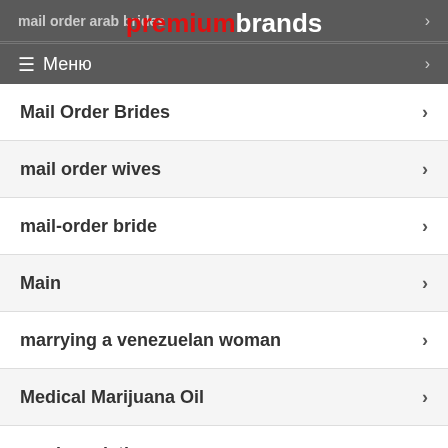premiumbrands  ☰ Меню
mail order arab brides
mail order bride da...
Mail Order Brides
mail order wives
mail-order bride
Main
marrying a venezuelan woman
Medical Marijuana Oil
mexican dating
mikrozaim bezrabotnym s 18 let